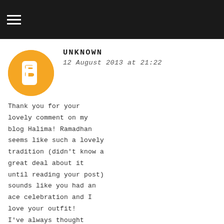≡
UNKNOWN
12 August 2013 at 21:22
Thank you for your lovely comment on my blog Halima! Ramadhan seems like such a lovely tradition (didn't know a great deal about it until reading your post) sounds like you had an ace celebration and I love your outfit! I've always thought Sari's are beautiful and